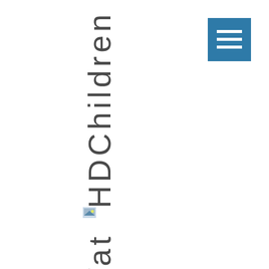HDChildren
[Figure (illustration): Small thumbnail image]
Wat